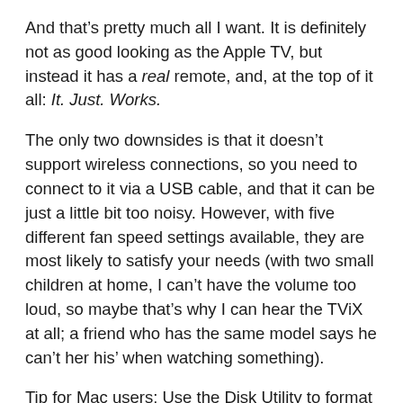And that’s pretty much all I want. It is definitely not as good looking as the Apple TV, but instead it has a real remote, and, at the top of it all: It. Just. Works.
The only two downsides is that it doesn’t support wireless connections, so you need to connect to it via a USB cable, and that it can be just a little bit too noisy. However, with five different fan speed settings available, they are most likely to satisfy your needs (with two small children at home, I can’t have the volume too loud, so maybe that’s why I can hear the TViX at all; a friend who has the same model says he can’t her his’ when watching something).
Tip for Mac users: Use the Disk Utility to format the hard drive you use to the MS-DOS File System. This is necessary for the TViX to work and for you to be able to read and write files.
My recommendation is that if you look for his kind of product, TViX is definitely the way to go, since it won’t hold